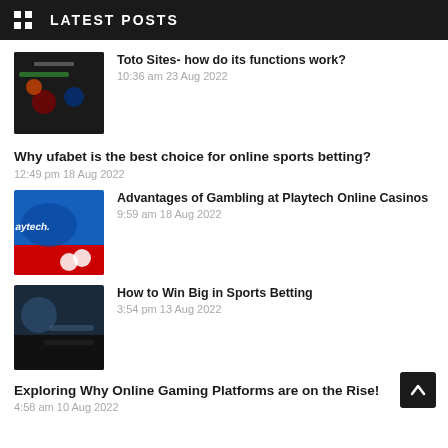LATEST POSTS
Toto Sites- how do its functions work?
10:36 am 23 Aug 2022
Why ufabet is the best choice for online sports betting?
12:49 pm 18 Aug 2022
Advantages of Gambling at Playtech Online Casinos
9:59 am 18 Aug 2022
How to Win Big in Sports Betting
3:54 pm 13 Aug 2022
Exploring Why Online Gaming Platforms are on the Rise!
4:58 am 10 Aug 2022